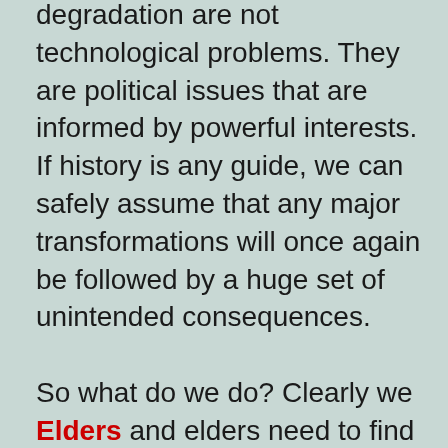degradation are not technological problems. They are political issues that are informed by powerful interests. If history is any guide, we can safely assume that any major transformations will once again be followed by a huge set of unintended consequences.

So what do we do? Clearly we Elders and elders need to find ways that help us flatten the hockey-stick curves that reflect our ever-faster pace of ecological destruction and social acceleration. If we acknowledge that human manipulation of the Earth has been a